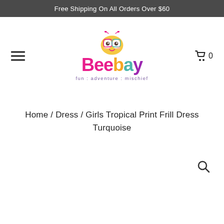Free Shipping On All Orders Over $60
[Figure (logo): Beebay logo with cartoon bee character and tagline 'fun : adventure : mischief']
Home / Dress / Girls Tropical Print Frill Dress Turquoise